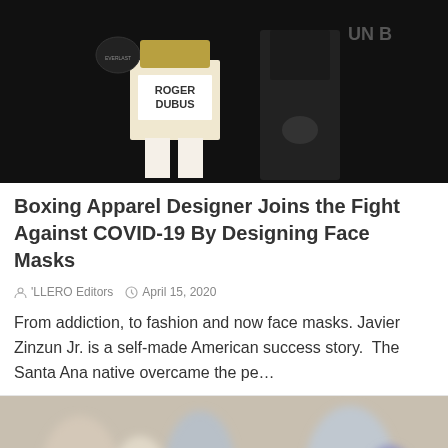[Figure (photo): Two people in boxing gear, one wearing white shorts labeled 'ROGER DUBUS', with boxing gloves, on a dark background]
Boxing Apparel Designer Joins the Fight Against COVID-19 By Designing Face Masks
'LLERO Editors   April 15, 2020
From addiction, to fashion and now face masks. Javier Zinzun Jr. is a self-made American success story.  The Santa Ana native overcame the pe…
[Figure (photo): Crowd of people seen from behind, one person wearing a dark baseball cap, blurred background of people]
Translate »